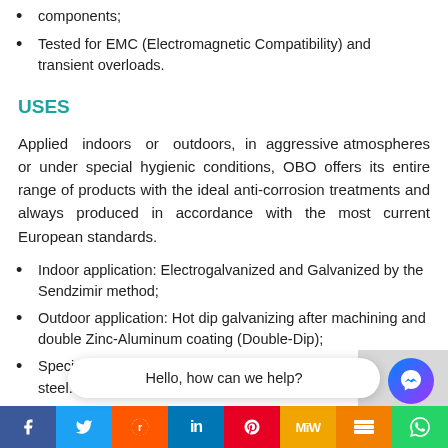components;
Tested for EMC (Electromagnetic Compatibility) and transient overloads.
USES
Applied indoors or outdoors, in aggressive atmospheres or under special hygienic conditions, OBO offers its entire range of products with the ideal anti-corrosion treatments and always produced in accordance with the most current European standards.
Indoor application: Electrogalvanized and Galvanized by the Sendzimir method;
Outdoor application: Hot dip galvanizing after machining and double Zinc-Aluminum coating (Double-Dip);
Special application: ... stainless steel.